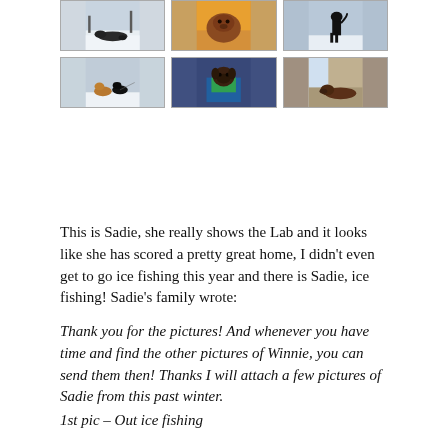[Figure (photo): Grid of 6 dog photos showing Sadie the Labrador in various winter settings including ice fishing, outdoors in snow, and indoors.]
This is Sadie, she really shows the Lab and it looks like she has scored a pretty great home, I didn’t even get to go ice fishing this year and there is Sadie, ice fishing! Sadie’s family wrote:
Thank you for the pictures! And whenever you have time and find the other pictures of Winnie, you can send them then! Thanks I will attach a few pictures of Sadie from this past winter.
1st pic – Out ice fishing